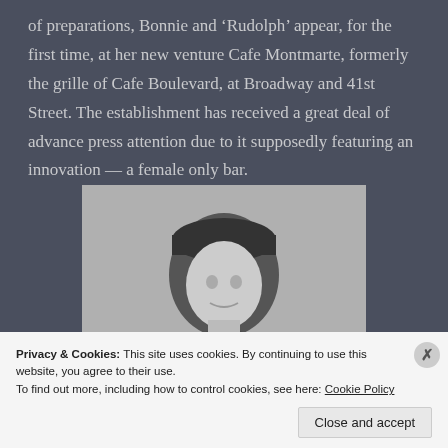of preparations, Bonnie and 'Rudolph' appear, for the first time, at her new venture Cafe Montmarte, formerly the grille of Cafe Boulevard, at Broadway and 41st Street. The establishment has received a great deal of advance press attention due to it supposedly featuring an innovation — a female only bar.
[Figure (photo): Black and white portrait photograph of a person wearing a dark hat and fur collar, looking slightly to the side with a slight smile.]
Privacy & Cookies: This site uses cookies. By continuing to use this website, you agree to their use. To find out more, including how to control cookies, see here: Cookie Policy